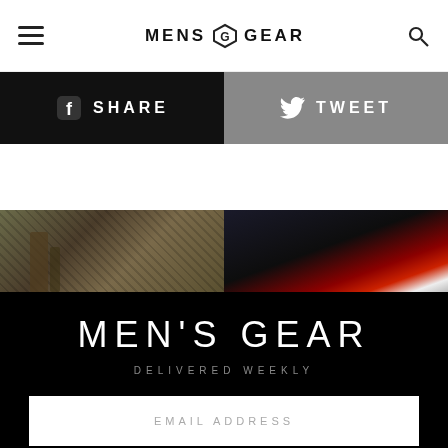MENS GEAR
[Figure (infographic): Social share bar with Facebook SHARE button (black) on left and Twitter TWEET button (gray) on right]
[Figure (photo): Two side-by-side photos: left shows camouflage/military gear, right shows dark background with red and white accents]
MEN'S GEAR
DELIVERED WEEKLY
EMAIL ADDRESS
SUBSCRIBE